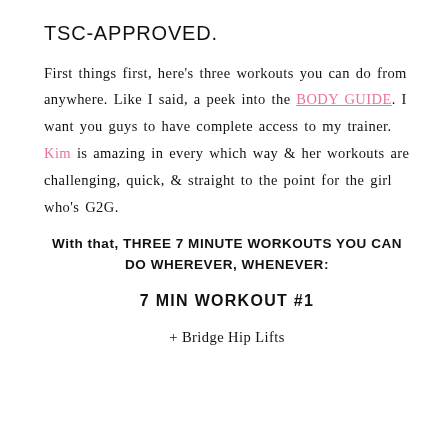TSC-APPROVED.
First things first, here’s three workouts you can do from anywhere. Like I said, a peek into the BODY GUIDE. I want you guys to have complete access to my trainer. Kim is amazing in every which way & her workouts are challenging, quick, & straight to the point for the girl who’s G2G.
With that, THREE 7 MINUTE WORKOUTS YOU CAN DO WHEREVER, WHENEVER:
7 MIN WORKOUT #1
+ Bridge Hip Lifts